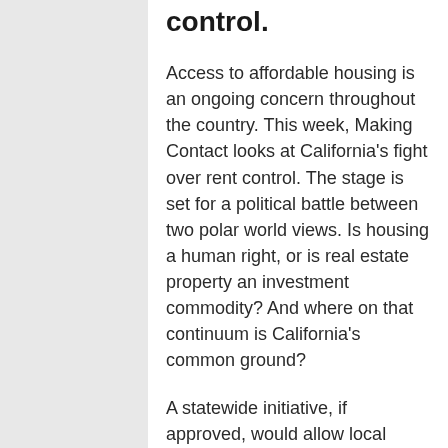control.
Access to affordable housing is an ongoing concern throughout the country. This week, Making Contact looks at California's fight over rent control. The stage is set for a political battle between two polar world views. Is housing a human right, or is real estate property an investment commodity? And where on that continuum is California's common ground?
A statewide initiative, if approved, would allow local governments to create their own rent control laws. In this